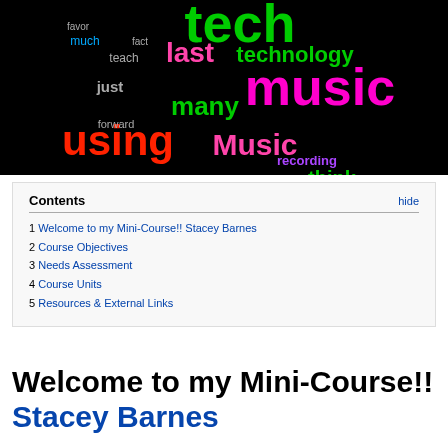[Figure (infographic): Word cloud on black background featuring education/music technology terms. Large prominent words include: tech (green), music (magenta/pink), using (red), many (green), last (magenta), technology (green), innovation (yellow-green), innovations (magenta), students (yellow), teacher (orange), think (green), Technology (magenta), years (yellow-green), classroom (green), ensemble (green), Education (red), use (orange), youtube (green), recording (purple), time (green), programs (yellow), pedagogy (pink), and many other smaller terms in various colors.]
| Contents | hide |
| --- | --- |
| 1 Welcome to my Mini-Course!! Stacey Barnes |  |
| 2 Course Objectives |  |
| 3 Needs Assessment |  |
| 4 Course Units |  |
| 5 Resources & External Links |  |
Welcome to my Mini-Course!! Stacey Barnes